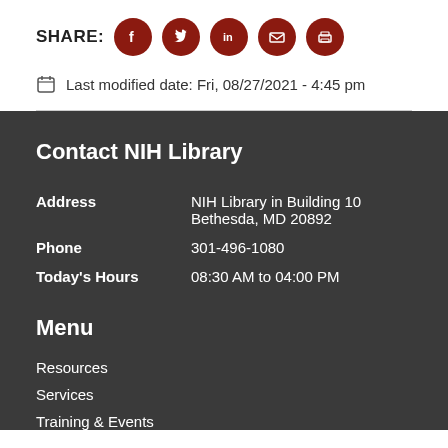SHARE: [social icons: Facebook, Twitter, LinkedIn, Email, Print]
Last modified date: Fri, 08/27/2021 - 4:45 pm
Contact NIH Library
| Field | Value |
| --- | --- |
| Address | NIH Library in Building 10 Bethesda, MD 20892 |
| Phone | 301-496-1080 |
| Today's Hours | 08:30 AM to 04:00 PM |
Menu
Resources
Services
Training & Events